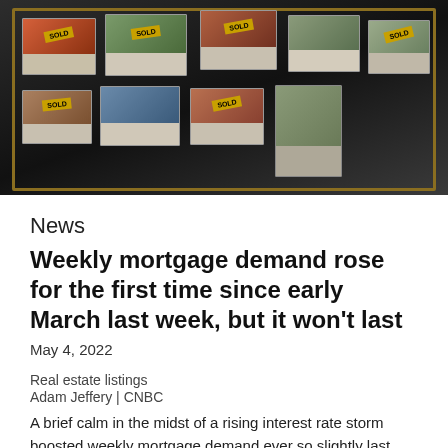[Figure (photo): Real estate agent window display showing multiple property listings with 'SOLD' stickers on several properties]
News
Weekly mortgage demand rose for the first time since early March last week, but it won't last
May 4, 2022
Real estate listings
Adam Jeffery | CNBC
A brief calm in the midst of a rising interest rate storm boosted weekly mortgage demand ever so slightly last week, but it is unlikely to be the start of a new trend.
Rates have already moved sharply higher this week